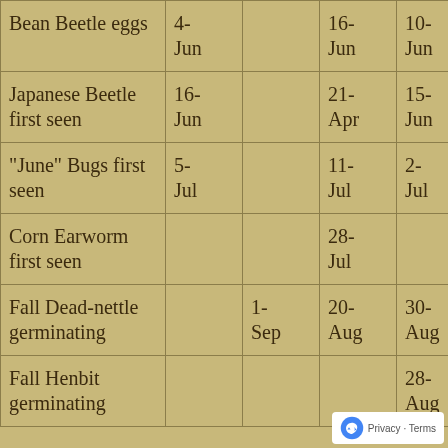| Bean Beetle eggs | 4-Jun |  | 16-Jun | 10-Jun |  |
| Japanese Beetle first seen | 16-Jun |  | 21-Apr | 15-Jun |  |
| "June" Bugs first seen | 5-Jul |  | 11-Jul | 2-Jul | 12-Aug |
| Corn Earworm first seen |  |  | 28-Jul |  | 8-Jul |
| Fall Dead-nettle germinating |  | 1-Sep | 20-Aug | 30-Aug | 20-Aug |
| Fall Henbit germinating |  |  |  | 28-Aug |  |